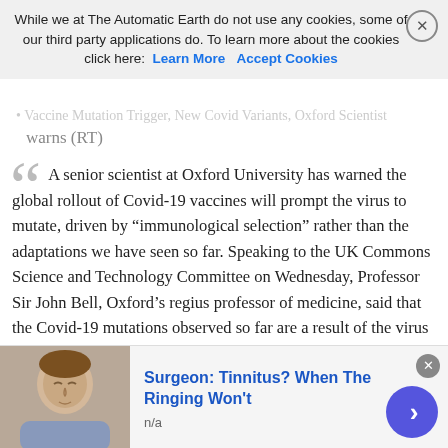While we at The Automatic Earth do not use any cookies, some of our third party applications do. To learn more about the cookies click here: Learn More   Accept Cookies
Vaccine Mutation Trigger, New Covid Variants, Oxford Scientist Warns (RT)
A senior scientist at Oxford University has warned the global rollout of Covid-19 vaccines will prompt the virus to mutate, driven by "immunological selection" rather than the adaptations we have seen so far. Speaking to the UK Commons Science and Technology Committee on Wednesday, Professor Sir John Bell, Oxford's regius professor of medicine, said that the Covid-19 mutations observed so far are a result of the virus adapting to be more effective in its new hosts, humans. "Most of the variants we have seen so far represent that kind of adaptation to a new species; it's a bit like moving into a new apartment, you are shuffling the sofa around and making sure the TV is in the right place," Bell told colleagues and lawmakers.
“What we will see between now and the end of the year is a
[Figure (photo): Advertisement banner: photo of a person sleeping, with text 'Surgeon: Tinnitus? When The Ringing Won’t' and subtext 'n/a', with a blue arrow button and close button.]